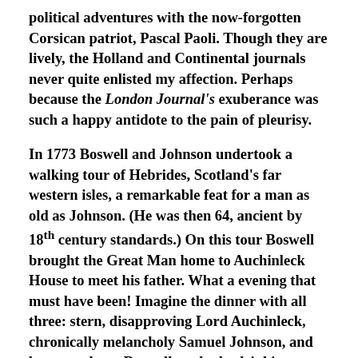political adventures with the now-forgotten Corsican patriot, Pascal Paoli. Though they are lively, the Holland and Continental journals never quite enlisted my affection. Perhaps because the London Journal's exuberance was such a happy antidote to the pain of pleurisy.
In 1773 Boswell and Johnson undertook a walking tour of Hebrides, Scotland's far western isles, a remarkable feat for a man as old as Johnson. (He was then 64, ancient by 18th century standards.) On this tour Boswell brought the Great Man home to Auchinleck House to meet his father. What a evening that must have been! Imagine the dinner with all three: stern, disapproving Lord Auchinleck, chronically melancholy Samuel Johnson, and between them, Boswell no doubt drinking